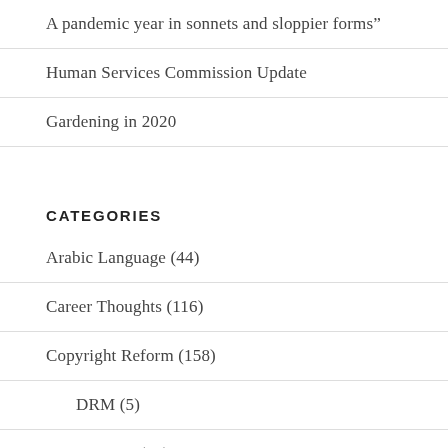A pandemic year in sonnets and sloppier forms”
Human Services Commission Update
Gardening in 2020
CATEGORIES
Arabic Language (44)
Career Thoughts (116)
Copyright Reform (158)
DRM (5)
Fair Use (97)